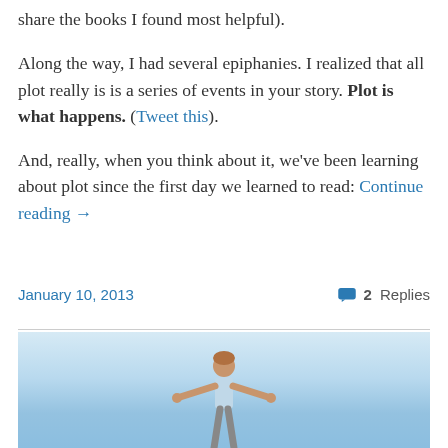share the books I found most helpful).
Along the way, I had several epiphanies. I realized that all plot really is is a series of events in your story. Plot is what happens. (Tweet this).
And, really, when you think about it, we've been learning about plot since the first day we learned to read: Continue reading →
January 10, 2013
2 Replies
[Figure (photo): A person with arms outstretched against a blue sky background]